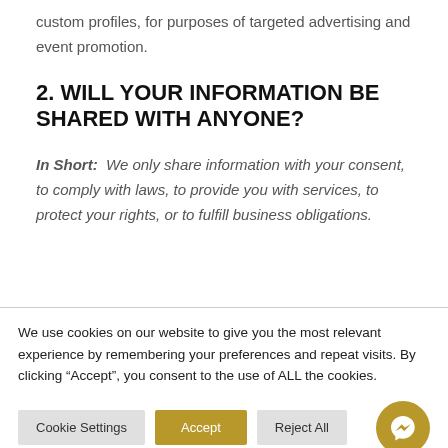custom profiles, for purposes of targeted advertising and event promotion.
2. WILL YOUR INFORMATION BE SHARED WITH ANYONE?
In Short:  We only share information with your consent, to comply with laws, to provide you with services, to protect your rights, or to fulfill business obligations.
We use cookies on our website to give you the most relevant experience by remembering your preferences and repeat visits. By clicking “Accept”, you consent to the use of ALL the cookies.